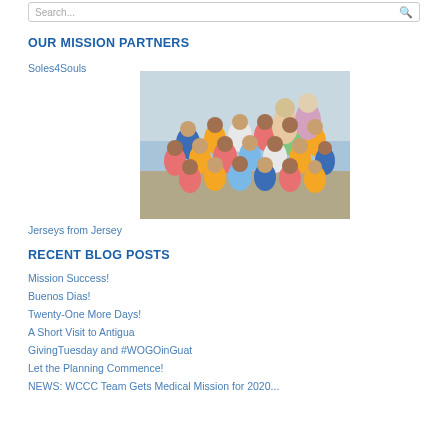Search...
OUR MISSION PARTNERS
Soles4Souls
[Figure (photo): Group photo of many children and two adults outdoors, children wearing colorful school uniforms in red, yellow, blue and green.]
Jerseys from Jersey
RECENT BLOG POSTS
Mission Success!
Buenos Dias!
Twenty-One More Days!
A Short Visit to Antigua
GivingTuesday and #WOGOinGuat
Let the Planning Commence!
NEWS: WCCC Team Gets Medical Mission for 2020...